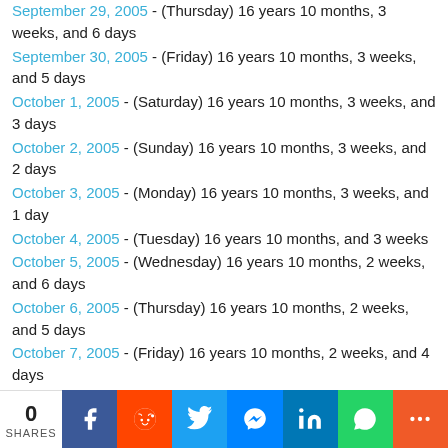September 29, 2005 - (Thursday) 16 years 10 months, 3 weeks, and 6 days
September 30, 2005 - (Friday) 16 years 10 months, 3 weeks, and 5 days
October 1, 2005 - (Saturday) 16 years 10 months, 3 weeks, and 3 days
October 2, 2005 - (Sunday) 16 years 10 months, 3 weeks, and 2 days
October 3, 2005 - (Monday) 16 years 10 months, 3 weeks, and 1 day
October 4, 2005 - (Tuesday) 16 years 10 months, and 3 weeks
October 5, 2005 - (Wednesday) 16 years 10 months, 2 weeks, and 6 days
October 6, 2005 - (Thursday) 16 years 10 months, 2 weeks, and 5 days
October 7, 2005 - (Friday) 16 years 10 months, 2 weeks, and 4 days
October 8, 2005 - (Saturday) 16 years 10 months, 2 weeks, and 3 days